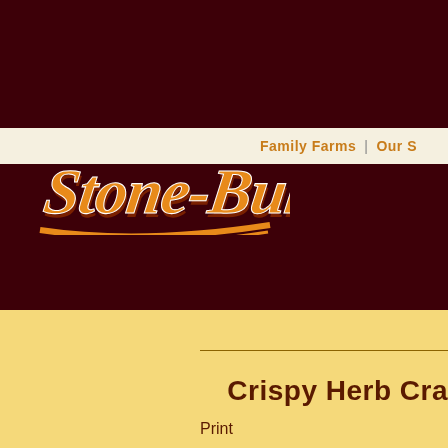[Figure (logo): Stone-Buhr flour brand logo in orange script lettering with dark red shadow/outline, on dark maroon background]
Family Farms | Our S
Crispy Herb Cra
Print